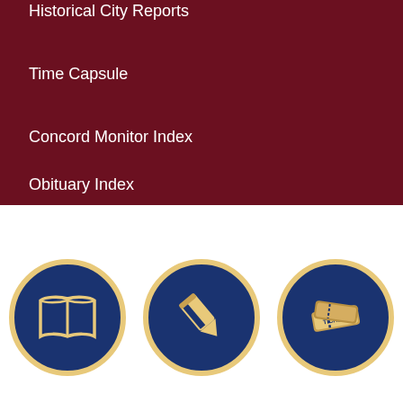Historical City Reports
Time Capsule
Concord Monitor Index
Obituary Index
[Figure (illustration): Dark red play button icon on dark red background, bottom-right corner]
[Figure (illustration): Three circular navy blue icons with gold borders arranged horizontally: open book, marker/pen, and ticket stub icons]